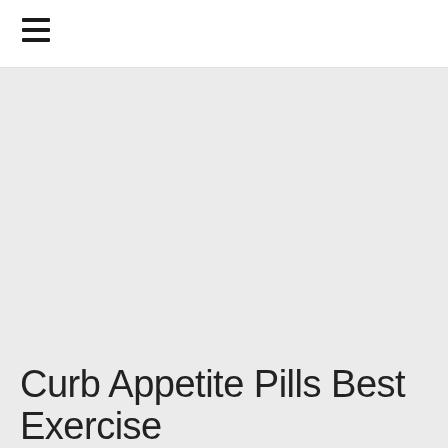☰
[Figure (other): Large light gray rectangular content area placeholder, likely an image or banner area]
Curb Appetite Pills Best Exercise